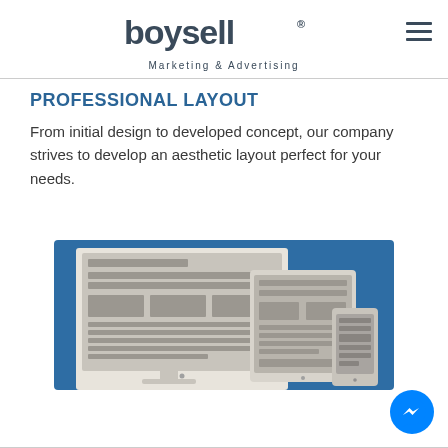[Figure (logo): Boysell Marketing & Advertising logo with registered trademark symbol]
PROFESSIONAL LAYOUT
From initial design to developed concept, our company strives to develop an aesthetic layout perfect for your needs.
[Figure (illustration): Responsive web design illustration showing desktop monitor, tablet, and mobile phone mockups with wireframe layouts on a blue background]